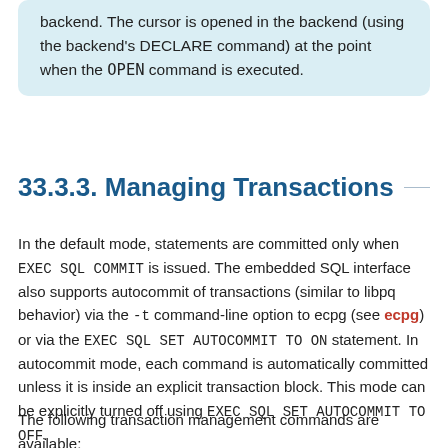backend. The cursor is opened in the backend (using the backend's DECLARE command) at the point when the OPEN command is executed.
33.3.3. Managing Transactions
In the default mode, statements are committed only when EXEC SQL COMMIT is issued. The embedded SQL interface also supports autocommit of transactions (similar to libpq behavior) via the -t command-line option to ecpg (see ecpg) or via the EXEC SQL SET AUTOCOMMIT TO ON statement. In autocommit mode, each command is automatically committed unless it is inside an explicit transaction block. This mode can be explicitly turned off using EXEC SQL SET AUTOCOMMIT TO OFF.
The following transaction management commands are available: